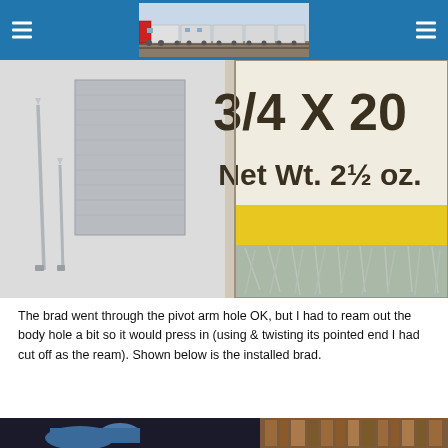Navigation header with hamburger menus and train logo image
[Figure (photo): Close-up photo showing two metal brads/nails next to a metallic sheet on the left, and a glass jar of brads labeled '3/4 X 20, Net Wt. 2½ oz.' on the right]
The brad went through the pivot arm hole OK, but I had to ream out the body hole a bit so it would press in (using & twisting its pointed end I had cut off as the ream). Shown below is the installed brad.
[Figure (photo): Partial photo showing an installed brad on a blue model train part, with bookshelves visible in the background]